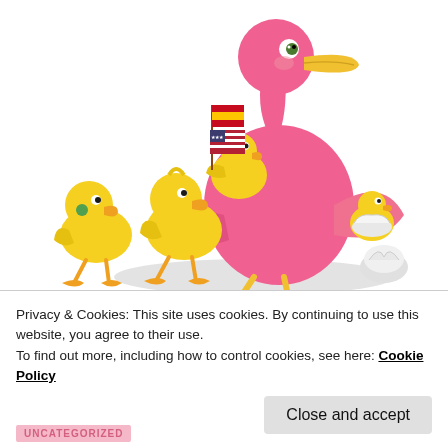[Figure (illustration): Cartoon illustration of a large pink flamingo/bird mother with yellow ducklings/chicks. One chick sits on the mother's back holding Spanish and American flags. Another small chick hatches from an egg on the mother's extended wing. Two yellow ducklings walk in front on the ground. A cracked egg shell sits to the right on the ground. Gray oval shadow beneath the group.]
NESTING IN CHICAGO
Privacy & Cookies: This site uses cookies. By continuing to use this website, you agree to their use.
To find out more, including how to control cookies, see here: Cookie Policy
Close and accept
UNCATEGORIZED